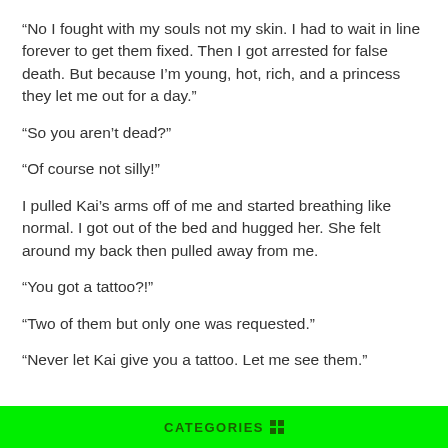“No I fought with my souls not my skin. I had to wait in line forever to get them fixed. Then I got arrested for false death. But because I’m young, hot, rich, and a princess they let me out for a day.”
“So you aren’t dead?”
“Of course not silly!”
I pulled Kai’s arms off of me and started breathing like normal. I got out of the bed and hugged her. She felt around my back then pulled away from me.
“You got a tattoo?!”
“Two of them but only one was requested.”
“Never let Kai give you a tattoo. Let me see them.”
CATEGORIES